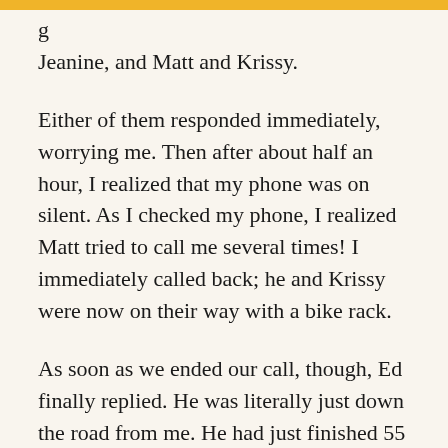g Jeanine, and Matt and Krissy.
Either of them responded immediately, worrying me. Then after about half an hour, I realized that my phone was on silent. As I checked my phone, I realized Matt tried to call me several times! I immediately called back; he and Krissy were now on their way with a bike rack.
As soon as we ended our call, though, Ed finally replied. He was literally just down the road from me. He had just finished 55 miles. Just 7 miles to go!
He was happy to see me, but he was also upset. The same way I was upset with KK at inspiring